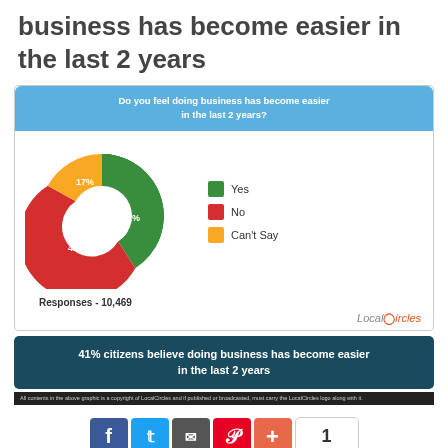business has become easier in the last 2 years
[Figure (donut-chart): Do you feel doing business has become easier in the last 2 years?]
Responses - 10,469
41% citizens believe doing business has become easier in the last 2 years
All contents in the above graphic is a copyright of LocalCircles and if published or broadcasted, must carry the LocalCircles logo along with it.